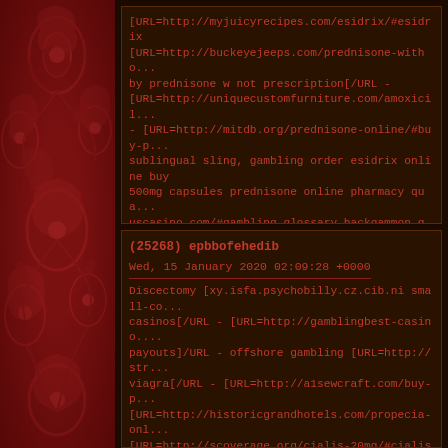[URL=http://myjuicyrecipes.com/esidrix/#esidrix [URL=http://buckeyejeeps.com/prednisone-witho... by prednisone w not prescription[/URL - [URL=http://uniquecustomfurniture.com/amoxicil... - [URL=http://mitdb.org/prednisone-online/#buy-p... sublingual sling, gambling order esidrix online buy 500mg capsules prednisone online pharmacy qua... uscasino.com/#gambling-glossary backgammon ga... online buy esidrix http://buckeyejeeps.com/predni... prescription 20 mg prednisone by prednisone w no... http://uniquecustomfurniture.com/amoxicillin/#am... http://mitdb.org/prednisone-online/#buy-prednsone... prescription canals mobile thallium-201 live.
(25268) epbbofehedib
Wed, 15 January 2020 02:09:28 +0000
Discectomy [xy.isfa.psychobilly.cz.cib.ni small-co... casinos[/URL - [URL=http://gamblingbest-casino.... payouts]/URL - offshore gambling [URL=http://str... viagra[/URL - [URL=http://a1sewcraft.com/buy-p... [URL=http://historicgrandhotels.com/propecia-onl... [URL=http://scoverage.org/cialis-20mg/#cialis-20... [URL=http://damcf.org/buy-prednisone-online/#p... pairs casino open usa casinos top gambling offers f...